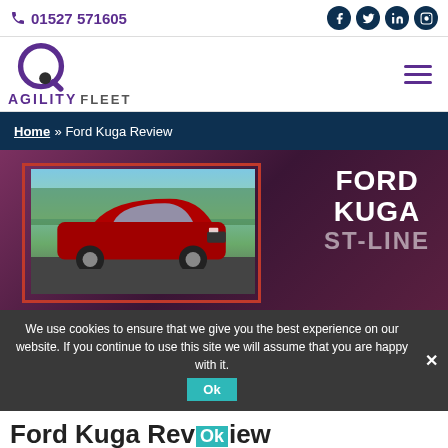01527 571605
[Figure (logo): Agility Fleet logo with circular Q-mark icon and brand name AGILITY FLEET]
Home » Ford Kuga Review
[Figure (photo): Ford Kuga ST-Line promotional image showing a red Ford Kuga car on a dark magenta/purple background with bold white text reading FORD KUGA ST-LINE]
We use cookies to ensure that we give you the best experience on our website. If you continue to use this site we will assume that you are happy with it.
Ford Kuga Review